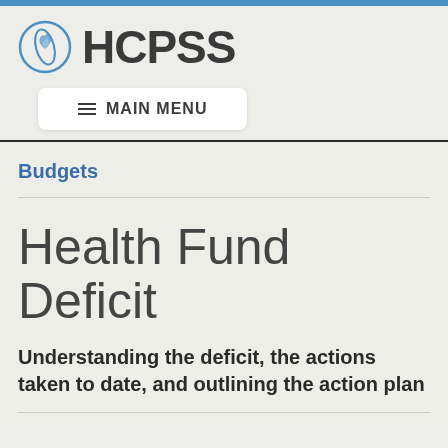HCPSS
Budgets
Health Fund Deficit
Understanding the deficit, the actions taken to date, and outlining the action plan